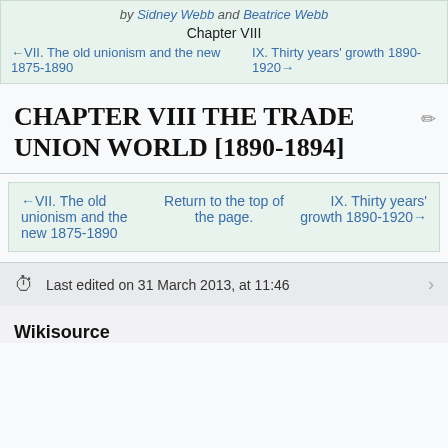by Sidney Webb and Beatrice Webb
Chapter VIII
← VII. The old unionism and the new 1875-1890
IX. Thirty years' growth 1890-1920 →
CHAPTER VIII THE TRADE UNION WORLD [1890-1894]
← VII. The old unionism and the new 1875-1890
Return to the top of the page.
IX. Thirty years' growth 1890-1920 →
Last edited on 31 March 2013, at 11:46
Wikisource